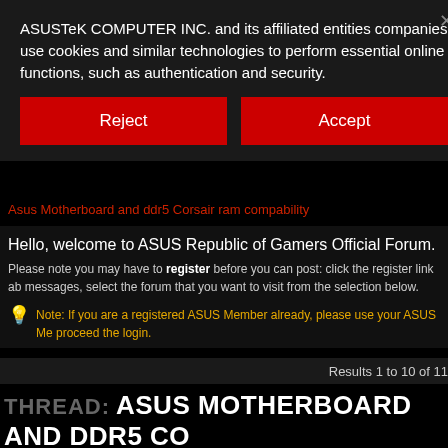ASUSTeK COMPUTER INC. and its affiliated entities companies use cookies and similar technologies to perform essential online functions, such as authentication and security.
Reject
Accept
Asus Motherboard and ddr5 Corsair ram compability
Hello, welcome to ASUS Republic of Gamers Official Forum.
Please note you may have to register before you can post: click the register link ab messages, select the forum that you want to visit from the selection below.
Note: If you are a registered ASUS Member already, please use your ASUS Me proceed the login.
Results 1 to 10 of 11
THREAD: ASUS MOTHERBOARD AND DDR5 CO COMPABILITY